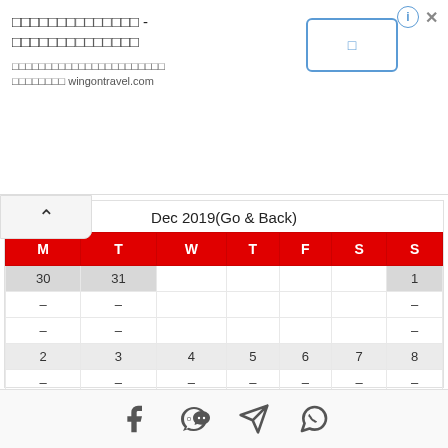□□□□□□□□□□□□□□ - □□□□□□□□□□□□□□
□□□□□□□□□□□□□□□□□□□□□□□ □□□□□□□□ wingontravel.com
[Figure (other): Calendar for Dec 2019 (Go & Back) showing dates 30, 31 (grayed) and 1 (grayed) in first week row, then 2-8 in second week row, with M T W T F S S header row in red]
Social share icons: Facebook, WeChat, Telegram, WhatsApp